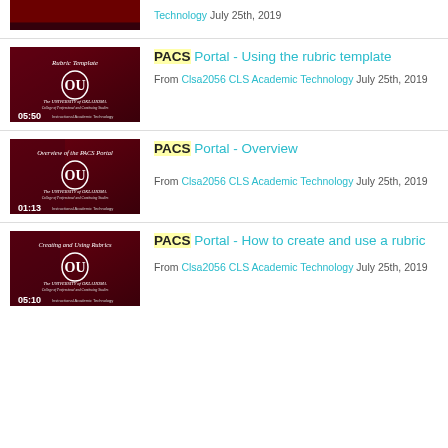[Figure (screenshot): Video thumbnail - partial top, dark red background, 04:00 timestamp]
Technology July 25th, 2019
[Figure (screenshot): Video thumbnail - Rubric Template, University of Oklahoma, 05:50 timestamp]
PACS Portal - Using the rubric template
From Clsa2056 CLS Academic Technology July 25th, 2019
[Figure (screenshot): Video thumbnail - Overview of the PACS Portal, University of Oklahoma, 01:13 timestamp]
PACS Portal - Overview
From Clsa2056 CLS Academic Technology July 25th, 2019
[Figure (screenshot): Video thumbnail - Creating and Using Rubrics, University of Oklahoma, 05:10 timestamp]
PACS Portal - How to create and use a rubric
From Clsa2056 CLS Academic Technology July 25th, 2019